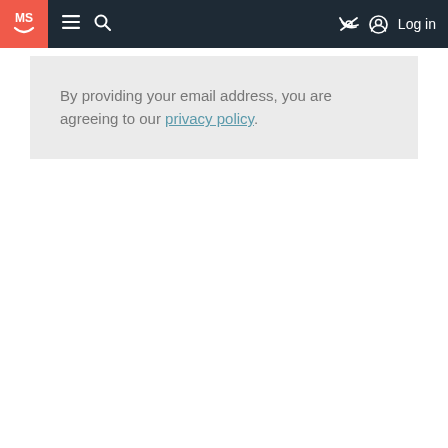MS [logo] navigation bar with hamburger menu, search, eye-slash icon, and Log in
By providing your email address, you are agreeing to our privacy policy.